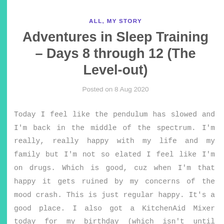ALL, MY STORY
Adventures in Sleep Training – Days 8 through 12 (The Level-out)
Posted on 8 Aug 2020
Today I feel like the pendulum has slowed and I'm back in the middle of the spectrum. I'm really, really happy with my life and my family but I'm not so elated I feel like I'm on drugs. Which is good, cuz when I'm that happy it gets ruined by my concerns of the mood crash. This is just regular happy. It's a good place. I also got a KitchenAid Mixer today for my birthday (which isn't until December, but Dave found a refurbished one for super cheap!) So I got a